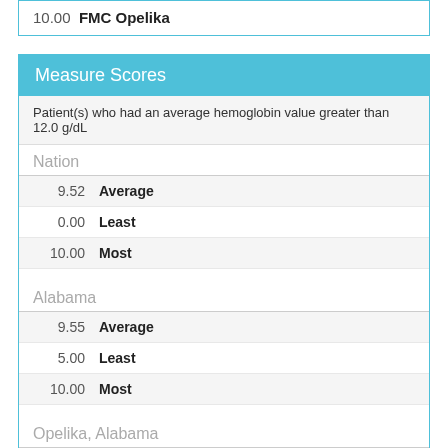| Score | Facility |
| --- | --- |
| 10.00 | FMC Opelika |
Measure Scores
Patient(s) who had an average hemoglobin value greater than 12.0 g/dL
Nation
| Value | Label |
| --- | --- |
| 9.52 | Average |
| 0.00 | Least |
| 10.00 | Most |
Alabama
| Value | Label |
| --- | --- |
| 9.55 | Average |
| 5.00 | Least |
| 10.00 | Most |
Opelika, Alabama